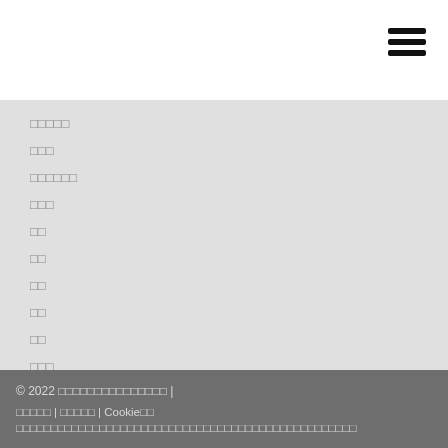[Figure (other): Hamburger menu icon (three horizontal lines) in the top-right corner]
□□□□□
□□□
□□□□□□
□□□
□□
□□
□□
□□
□□
□□□
□□□
□□
© 2022 □□□□□□□□□□□□□□□ | □□□□□ | □□□□□ | Cookie□□ □□□□□□□□□□□□□□□□□□□□□□□□□□□□□□□□□□□□□□□□□□□□□□□□□